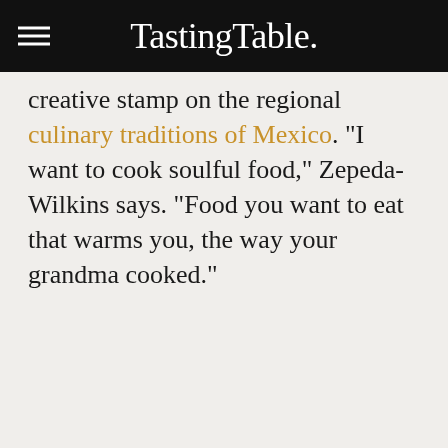TastingTable.
creative stamp on the regional culinary traditions of Mexico. "I want to cook soulful food," Zepeda-Wilkins says. "Food you want to eat that warms you, the way your grandma cooked."